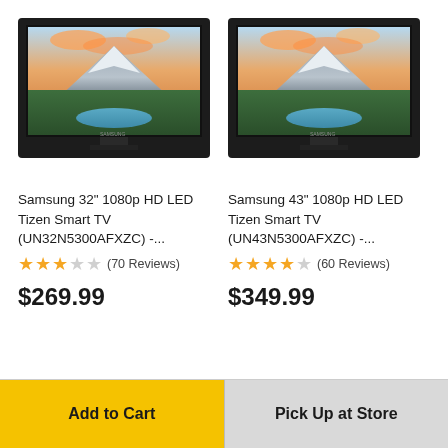[Figure (photo): Samsung 32-inch smart TV showing mountain landscape on screen, black bezel]
[Figure (photo): Samsung 43-inch smart TV showing mountain landscape on screen, black bezel]
Samsung 32" 1080p HD LED Tizen Smart TV (UN32N5300AFXZC) -...
★★★☆☆ (70 Reviews)
$269.99
Samsung 43" 1080p HD LED Tizen Smart TV (UN43N5300AFXZC) -...
★★★☆☆ (60 Reviews)
$349.99
Add to Cart
Pick Up at Store